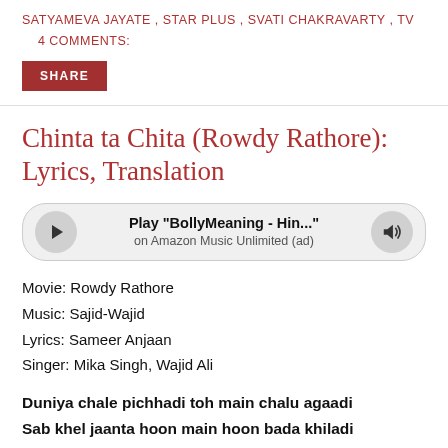SATYAMEVA JAYATE , STAR PLUS , SVATI CHAKRAVARTY , TV    4 COMMENTS:
SHARE
Chinta ta Chita (Rowdy Rathore): Lyrics, Translation
[Figure (other): Amazon Music player bar with play button, title 'Play "BollyMeaning - Hin..."', subtitle 'on Amazon Music Unlimited (ad)', and volume button]
Movie: Rowdy Rathore
Music: Sajid-Wajid
Lyrics: Sameer Anjaan
Singer: Mika Singh, Wajid Ali
Duniya chale pichhadi toh main chalu agaadi
Sab khel jaanta hoon main hoon bada khiladi
Simti mein leke jaaun